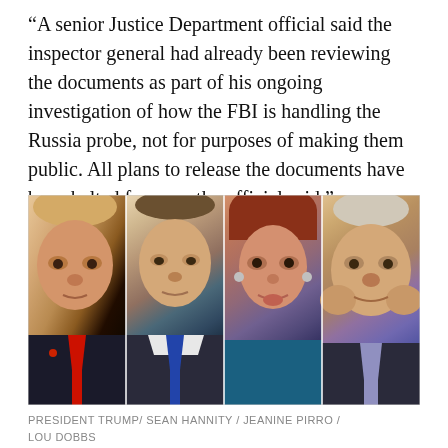“A senior Justice Department official said the inspector general had already been reviewing the documents as part of his ongoing investigation of how the FBI is handling the Russia probe, not for purposes of making them public. All plans to release the documents have been halted for now, the official said.”
[Figure (photo): Four-panel composite photo showing President Trump, Sean Hannity, Jeanine Pirro, and Lou Dobbs side by side]
PRESIDENT TRUMP/ SEAN HANNITY / JEANINE PIRRO / LOU DOBBS